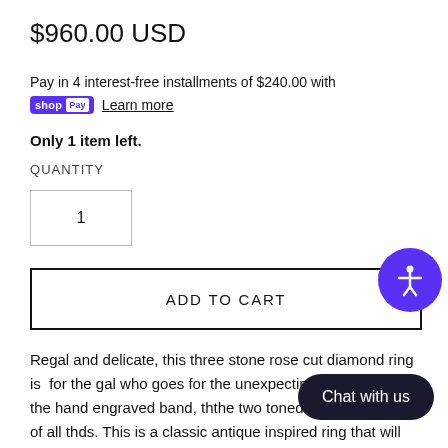$960.00 USD
Pay in 4 interest-free installments of $240.00 with shop Pay Learn more
Only 1 item left.
QUANTITY
1
ADD TO CART
Regal and delicate, this three stone rose cut diamond ring is  for the gal who goes for the unexpected. Gold in the details of the hand engraved band, th…, the two toned gold and most of all th…ds. This is a classic antique inspired ring that will surely be